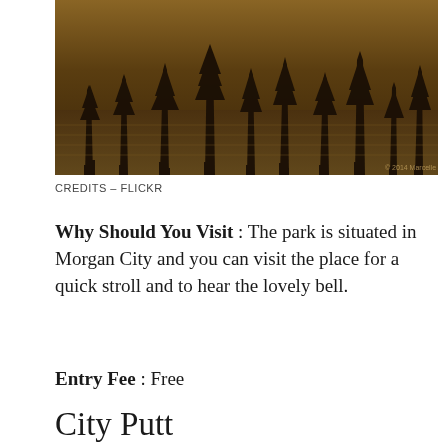[Figure (photo): Sepia-toned photograph of a swamp or wetland with cypress trees and dark water, taken at Flickr]
CREDITS – FLICKR
Why Should You Visit : The park is situated in Morgan City and you can visit the place for a quick stroll and to hear the lovely bell.
Entry Fee : Free
City Putt